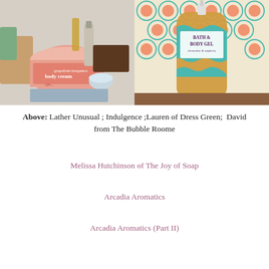[Figure (photo): Two product photos side by side: left shows grapefruit bergamot body cream jar with other skincare products on white background; right shows a bath and body gel bottle with teal label on a retro orange and teal hexagon patterned background.]
Above: Lather Unusual ; Indulgence ;Lauren of Dress Green;  David from The Bubble Roome
Melissa Hutchinson of The Joy of Soap
Arcadia Aromatics
Arcadia Aromatics (Part II)